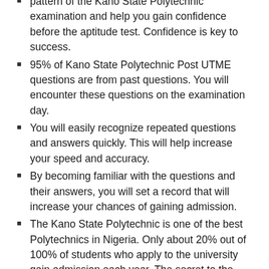pattern of the Kano State Polytechnic examination and help you gain confidence before the aptitude test. Confidence is key to success.
95% of Kano State Polytechnic Post UTME questions are from past questions. You will encounter these questions on the examination day.
You will easily recognize repeated questions and answers quickly. This will help increase your speed and accuracy.
By becoming familiar with the questions and their answers, you will set a record that will increase your chances of gaining admission.
The Kano State Polytechnic is one of the best Polytechnics in Nigeria. Only about 20% out of 100% of students who apply to the university gain admission each year. The secret to the selection is based on the cu... [Click Here For Past Questions] ...it to the selected 20% prepared well in advance using the Kano State Polytechnic past questions and ...
[Figure (infographic): WhatsApp-style green circle icon next to an orange-red rounded button reading 'Click Here For Past Questions']